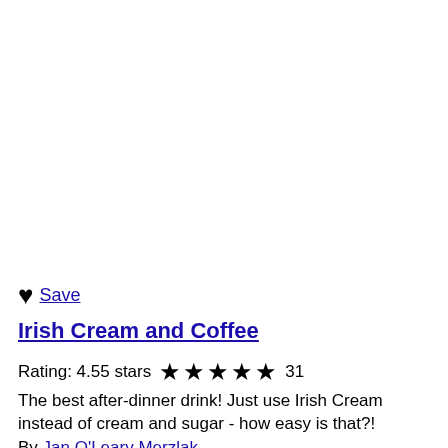♥ Save
Irish Cream and Coffee
Rating: 4.55 stars ★★★★★ 31
The best after-dinner drink! Just use Irish Cream instead of cream and sugar - how easy is that?!
By Jan O'Leary Merzlak
Mocha